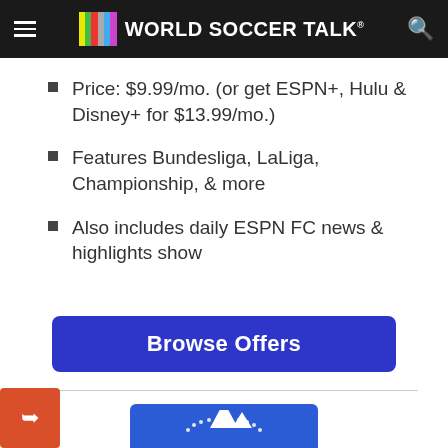World Soccer Talk
Price: $9.99/mo. (or get ESPN+, Hulu & Disney+ for $13.99/mo.)
Features Bundesliga, LaLiga, Championship, & more
Also includes daily ESPN FC news & highlights show
Browse Offers
[Figure (logo): Paramount+ logo on blue background]